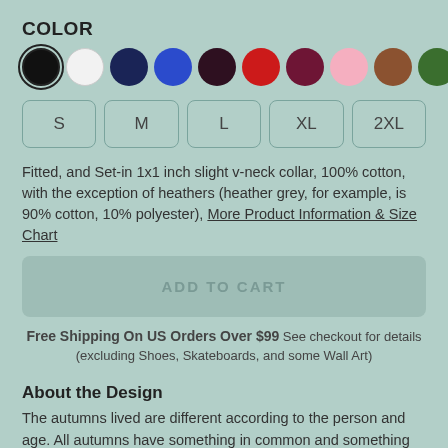COLOR
[Figure (illustration): Color swatches: black (selected), white, navy, blue, dark purple, red, maroon, pink, brown, green, light grey]
[Figure (illustration): Size selector buttons: S, M, L, XL, 2XL]
Fitted, and Set-in 1x1 inch slight v-neck collar, 100% cotton, with the exception of heathers (heather grey, for example, is 90% cotton, 10% polyester), More Product Information & Size Chart
[Figure (illustration): Add to cart button (greyed out)]
Free Shipping On US Orders Over $99 See checkout for details (excluding Shoes, Skateboards, and some Wall Art)
About the Design
The autumns lived are different according to the person and age. All autumns have something in common and something different. The painting wants to retain something from each of them because